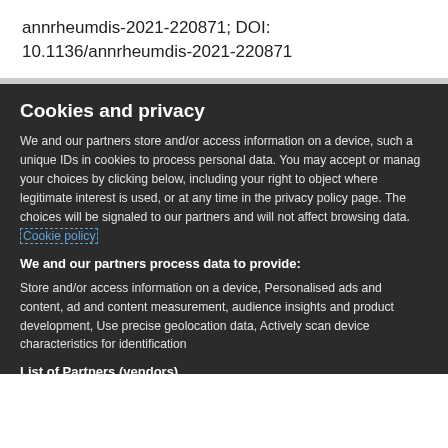annrheumdis-2021-220871; DOI: 10.1136/annrheumdis-2021-220871
Cookies and privacy
We and our partners store and/or access information on a device, such a unique IDs in cookies to process personal data. You may accept or manag your choices by clicking below, including your right to object where legitimate interest is used, or at any time in the privacy policy page. The choices will be signaled to our partners and will not affect browsing data. Cookie policy
We and our partners process data to provide:
Store and/or access information on a device, Personalised ads and content, ad and content measurement, audience insights and product development, Use precise geolocation data, Actively scan device characteristics for identification
List of Partners (vendors)
I Accept